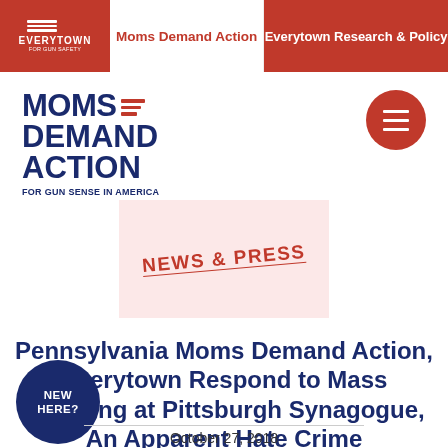Everytown For Gun Safety | Moms Demand Action | Everytown Research & Policy
[Figure (logo): Moms Demand Action for Gun Sense in America logo in navy blue and red]
[Figure (illustration): Pink/light red rectangular box with NEWS & PRESS stamp text in red at a slight angle]
Pennsylvania Moms Demand Action, Everytown Respond to Mass Shooting at Pittsburgh Synagogue, An Apparent Hate Crime
October 27, 2018